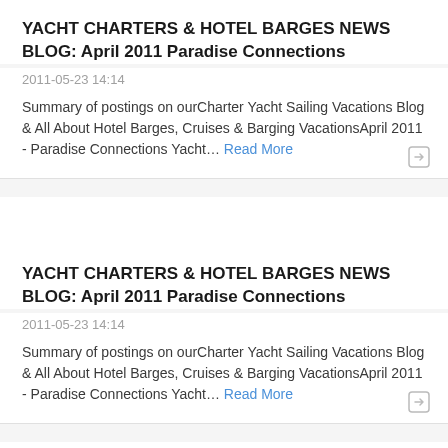YACHT CHARTERS & HOTEL BARGES NEWS BLOG: April 2011 Paradise Connections
2011-05-23 14:14
Summary of postings on ourCharter Yacht Sailing Vacations Blog & All About Hotel Barges, Cruises & Barging VacationsApril 2011 - Paradise Connections Yacht… Read More
YACHT CHARTERS & HOTEL BARGES NEWS BLOG: April 2011 Paradise Connections
2011-05-23 14:14
Summary of postings on ourCharter Yacht Sailing Vacations Blog & All About Hotel Barges, Cruises & Barging VacationsApril 2011 - Paradise Connections Yacht… Read More
YACHT CHARTERS & HOTEL BARGES NEWS BLOG: